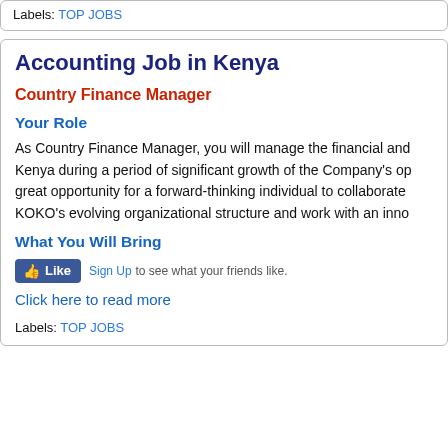Labels: TOP JOBS
Accounting Job in Kenya
Country Finance Manager
Your Role
As Country Finance Manager, you will manage the financial and Kenya during a period of significant growth of the Company's op great opportunity for a forward-thinking individual to collaborate KOKO's evolving organizational structure and work with an inno
What You Will Bring
Sign Up to see what your friends like.
Click here to read more
Labels: TOP JOBS